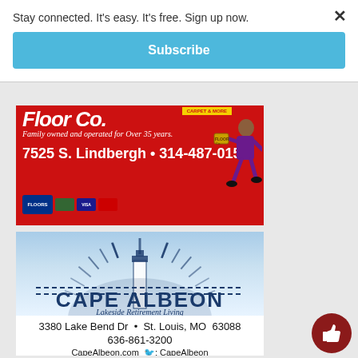Stay connected. It's easy. It's free. Sign up now.
Subscribe
[Figure (illustration): Clark's Floor Co. advertisement on red background. Text reads: 'Floor Co. Family owned and operated for Over 35 years. 7525 S. Lindbergh • 314-487-0151' with credit card logos and a cartoon mascot.]
[Figure (illustration): Cape Albeon Lakeside Retirement Living advertisement. Blue sky background with lighthouse/sunburst logo. Text: 'CAPE ALBEON Lakeside Retirement Living. 3380 Lake Bend Dr • St. Louis, MO 63088. 636-861-3200. CapeAlbeon.com  f: CapeAlbeon']